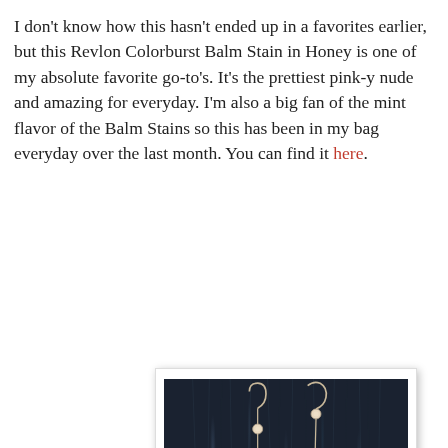I don't know how this hasn't ended up in a favorites earlier, but this Revlon Colorburst Balm Stain in Honey is one of my absolute favorite go-to's. It's the prettiest pink-y nude and amazing for everyday. I'm also a big fan of the mint flavor of the Balm Stains so this has been in my bag everyday over the last month. You can find it here.
[Figure (photo): Photo of dangling drop earrings with pearl-like beads on a dark fur background, displayed with a white border and slight shadow]